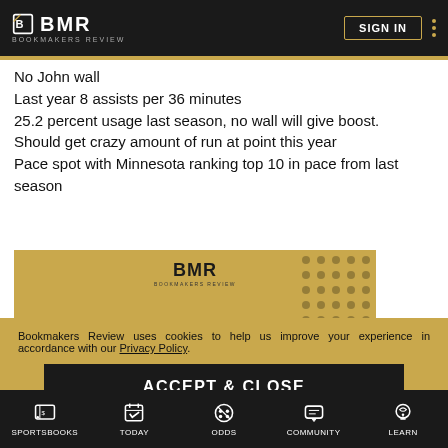BMR BOOKMAKERS REVIEW | SIGN IN
No John wall
Last year 8 assists per 36 minutes
25.2 percent usage last season, no wall will give boost.
Should get crazy amount of run at point this year
Pace spot with Minnesota ranking top 10 in pace from last season
[Figure (logo): BMR Bookmakers Review 'Pick of the Day' banner in gold and black]
Bookmakers Review uses cookies to help us improve your experience in accordance with our Privacy Policy.
ACCEPT & CLOSE
SPORTSBOOKS | TODAY | ODDS | COMMUNITY | LEARN